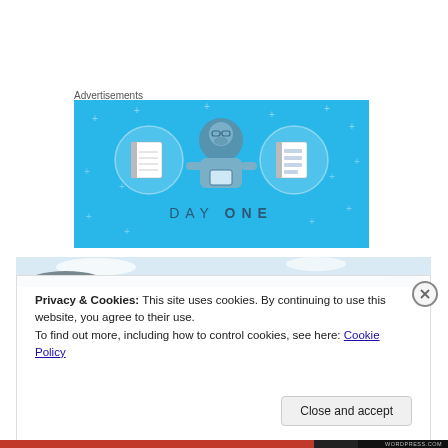Advertisements
[Figure (illustration): Day One app advertisement banner with blue background showing a person holding a phone flanked by two circular icons of notebooks, with text 'DAY ONE' at the bottom]
[Figure (photo): Partial landscape/seascape photo strip showing water and hills]
Privacy & Cookies: This site uses cookies. By continuing to use this website, you agree to their use.
To find out more, including how to control cookies, see here: Cookie Policy